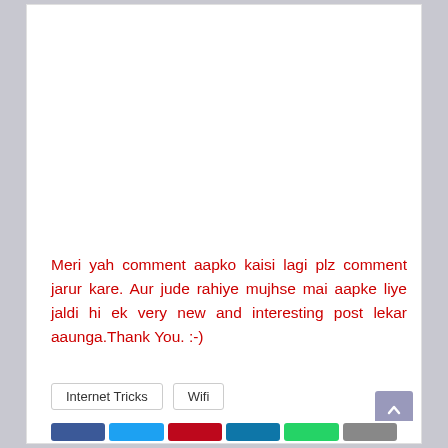Meri yah comment aapko kaisi lagi plz comment jarur kare. Aur jude rahiye mujhse mai aapke liye jaldi hi ek very new and interesting post lekar aaunga.Thank You. :-)
Internet Tricks
Wifi